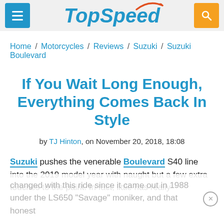TopSpeed
Home / Motorcycles / Reviews / Suzuki / Suzuki Boulevard
If You Wait Long Enough, Everything Comes Back In Style
by TJ Hinton, on November 20, 2018, 18:08
Suzuki pushes the venerable Boulevard S40 line into the 2019 model year with naught but a few extra touches to the paint. In fact, little has really changed with this ride since it came out in 1988 under the LS650 "Savage" moniker, and that honest